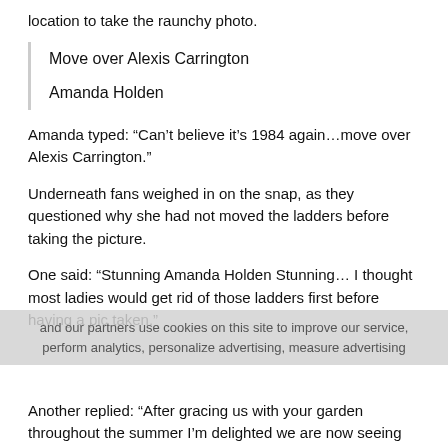location to take the raunchy photo.
Move over Alexis Carrington
Amanda Holden
Amanda typed: “Can’t believe it’s 1984 again…move over Alexis Carrington.”
Underneath fans weighed in on the snap, as they questioned why she had not moved the ladders before taking the picture.
One said: “Stunning Amanda Holden Stunning… I thought most ladies would get rid of those ladders first before having a pic taken.”
Another replied: “After gracing us with your garden throughout the summer I’m delighted we are now seeing your garage.”